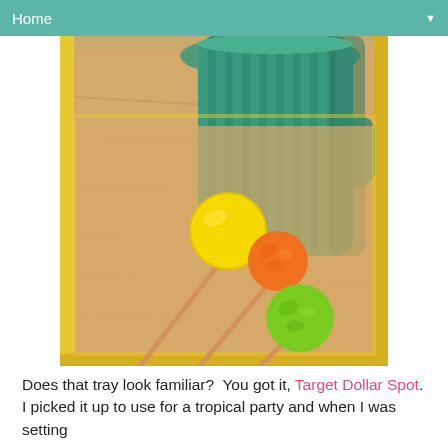Home
[Figure (photo): Three colorful lollipops (yellow, orange, green) lying on a wooden tray with sticks crossed, and a green cactus-shaped mug in the background on a yellow-rimmed tray]
Does that tray look familiar?  You got it, Target Dollar Spot.  I picked it up to use for a tropical party and when I was setting